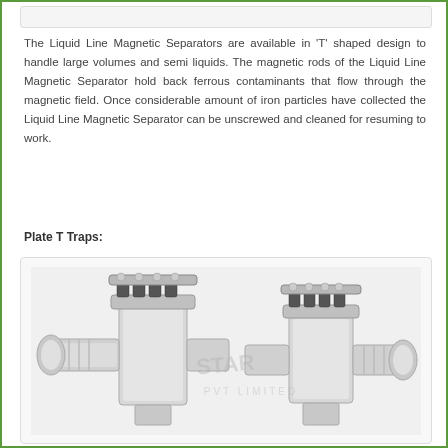[Figure (photo): Partial top image box (continuation from previous page) showing a white/grey strip]
The Liquid Line Magnetic Separators are available in 'T' shaped design to handle large volumes and semi liquids. The magnetic rods of the Liquid Line Magnetic Separator hold back ferrous contaminants that flow through the magnetic field. Once considerable amount of iron particles have collected the Liquid Line Magnetic Separator can be unscrewed and cleaned for resuming to work.
Plate T Traps:
[Figure (photo): Photo of two T-shaped Plate T Trap magnetic separators made of stainless steel with flanged ends and multiple magnetic rod holders on top, with a watermark reading STAR PVT LIMITED]